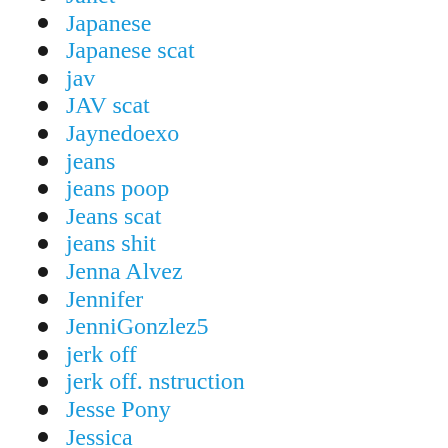Janet
Japanese
Japanese scat
jav
JAV scat
Jaynedoexo
jeans
jeans poop
Jeans scat
jeans shit
Jenna Alvez
Jennifer
JenniGonzlez5
jerk off
jerk off. nstruction
Jesse Pony
Jessica